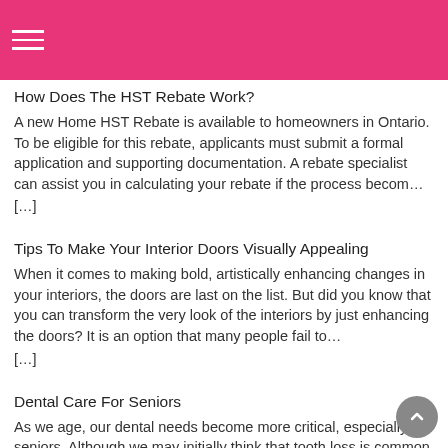How Does The HST Rebate Work?
A new Home HST Rebate is available to homeowners in Ontario. To be eligible for this rebate, applicants must submit a formal application and supporting documentation. A rebate specialist can assist you in calculating your rebate if the process becom…
[…]
Tips To Make Your Interior Doors Visually Appealing
When it comes to making bold, artistically enhancing changes in your interiors, the doors are last on the list. But did you know that you can transform the very look of the interiors by just enhancing the doors? It is an option that many people fail to…
[…]
Dental Care For Seniors
As we age, our dental needs become more critical, especially for seniors. Although we may initially think that tooth loss is common in senior years, many older adults maintain their natural…